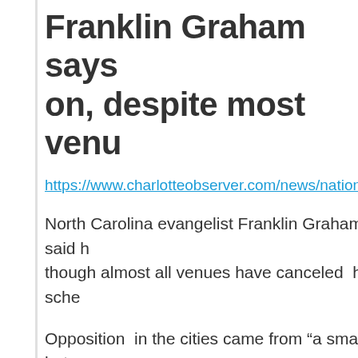Franklin Graham says on, despite most venu
https://www.charlotteobserver.com/news/nation-w
North Carolina evangelist Franklin Graham said h though almost all venues have canceled  his sche
Opposition  in the cities came from “a small but vo website of his Charlotte-based Billy Graham  Evan
He said he wasn’t surprised by the  opposition. Hi hostility” before his 1954 London Crusade at vario Wembley Stadium.